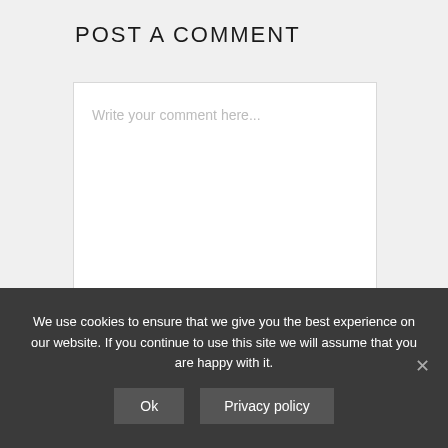POST A COMMENT
Write your comment here...
Your full name
We use cookies to ensure that we give you the best experience on our website. If you continue to use this site we will assume that you are happy with it.
Ok
Privacy policy